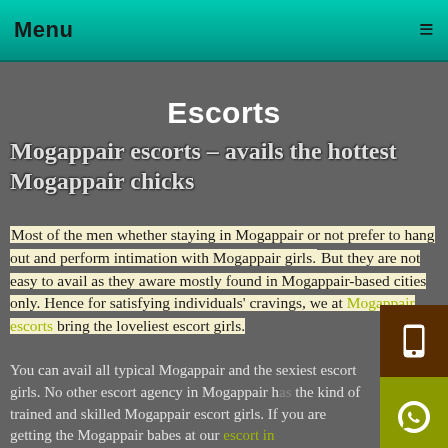Menu ≡
Escorts
Mogappair escorts – avails the hottest Mogappair chicks
Most of the men whether staying in Mogappair or not prefer to hang out and perform intimation with Mogappair girls. But they are not easy to avail as they aware mostly found in Mogappair-based cities only. Hence for satisfying individuals' cravings, we at Mogappair escorts bring the loveliest escort girls.
You can avail all typical Mogappair and the sexiest escort girls. No other escort agency in Mogappair has the kind of trained and skilled Mogappair escort girls. If you are getting the Mogappair babes at our escort in